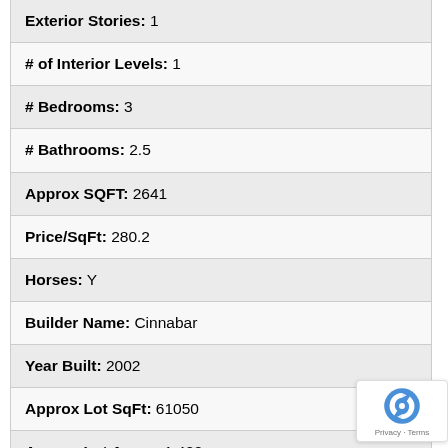| Exterior Stories: | 1 |
| # of Interior Levels: | 1 |
| # Bedrooms: | 3 |
| # Bathrooms: | 2.5 |
| Approx SQFT: | 2641 |
| Price/SqFt: | 280.2 |
| Horses: | Y |
| Builder Name: | Cinnabar |
| Year Built: | 2002 |
| Approx Lot SqFt: | 61050 |
| Approx Lot Acres: | 1.402 |
| Pool: | None |